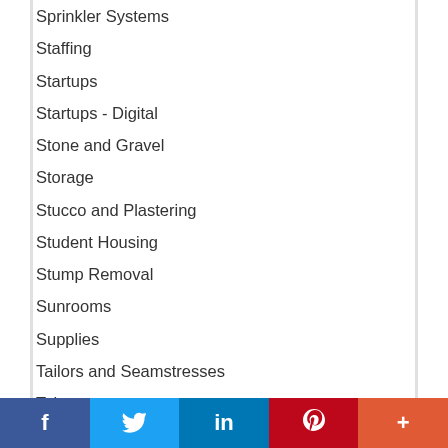Sprinkler Systems
Staffing
Startups
Startups - Digital
Stone and Gravel
Storage
Stucco and Plastering
Student Housing
Stump Removal
Sunrooms
Supplies
Tailors and Seamstresses
Takeout
Tanning
f  Twitter  in  P  +